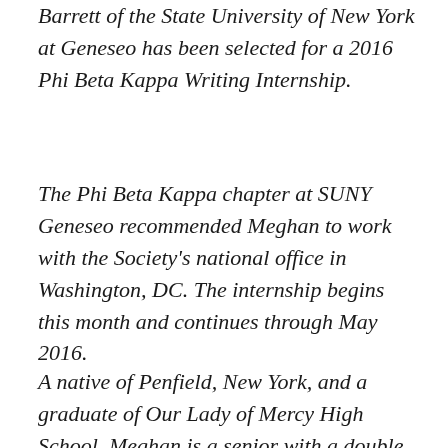Barrett of the State University of New York at Geneseo has been selected for a 2016 Phi Beta Kappa Writing Internship.
The Phi Beta Kappa chapter at SUNY Geneseo recommended Meghan to work with the Society's national office in Washington, DC. The internship begins this month and continues through May 2016.
A native of Penfield, New York, and a graduate of Our Lady of Mercy High School, Meghan is a senior with a double major in Biology and Creative Writing. She is also part of the college's Edgar Fellows Honors